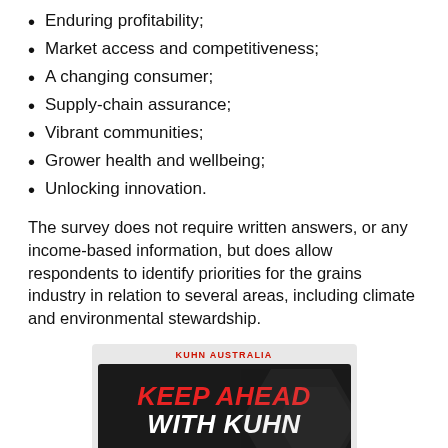Enduring profitability;
Market access and competitiveness;
A changing consumer;
Supply-chain assurance;
Vibrant communities;
Grower health and wellbeing;
Unlocking innovation.
The survey does not require written answers, or any income-based information, but does allow respondents to identify priorities for the grains industry in relation to several areas, including climate and environmental stewardship.
[Figure (illustration): Advertisement for Kuhn Australia showing 'KEEP AHEAD WITH KUHN' text in red and white on a dark background with hexagonal pattern and agricultural machinery at the bottom.]